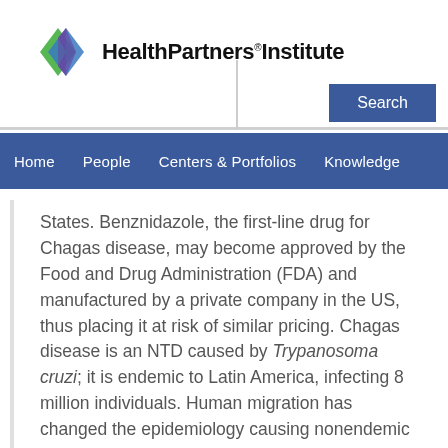HealthPartners Institute
States. Benznidazole, the first-line drug for Chagas disease, may become approved by the Food and Drug Administration (FDA) and manufactured by a private company in the US, thus placing it at risk of similar pricing. Chagas disease is an NTD caused by Trypanosoma cruzi; it is endemic to Latin America, infecting 8 million individuals. Human migration has changed the epidemiology causing nonendemic countries to face increased challenges in diagnosing and managing patients with Chagas